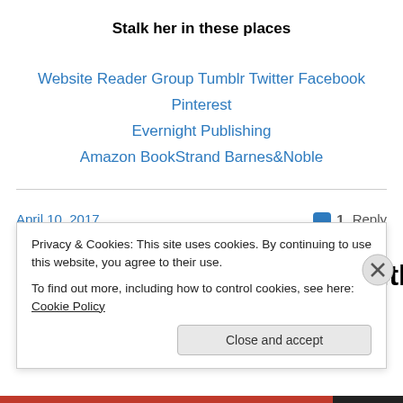Stalk her in these places
Website Reader Group Tumblr Twitter Facebook Pinterest Evernight Publishing Amazon BookStrand Barnes&Noble
April 10, 2017   1 Reply
New Release! Christmas with
Privacy & Cookies: This site uses cookies. By continuing to use this website, you agree to their use.
To find out more, including how to control cookies, see here: Cookie Policy